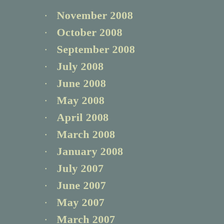November 2008
October 2008
September 2008
July 2008
June 2008
May 2008
April 2008
March 2008
January 2008
July 2007
June 2007
May 2007
March 2007
January 2007